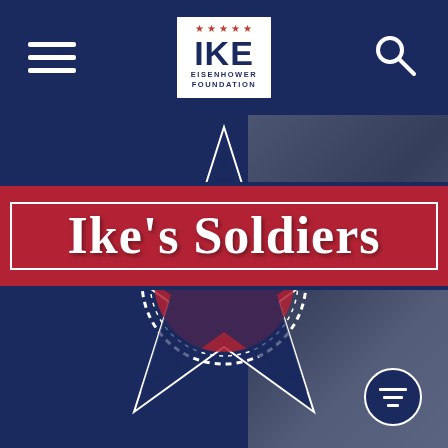[Figure (logo): IKE Eisenhower Foundation logo — white rectangle with red stars across the top, bold navy text IKE large, EISENHOWER FOUNDATION smaller below]
[Figure (infographic): Large five-pointed star graphic in navy blue and red with white dashed circle ring, overlaid with red banner reading Ike's Soldiers in large white serif bold text, on a navy background with a faded grayscale military photo on the right]
Ike's Soldiers